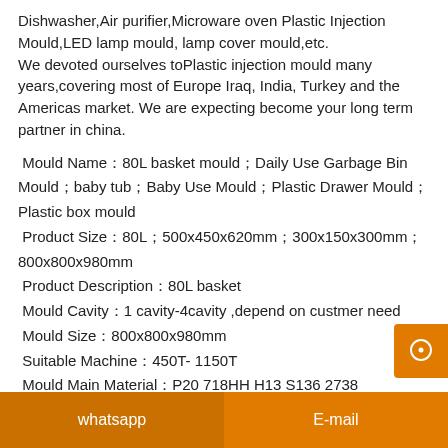Dishwasher,Air purifier,Microware oven Plastic Injection Mould,LED lamp mould, lamp cover mould,etc.
We devoted ourselves toPlastic injection mould many years,covering most of Europe Iraq, India, Turkey and the Americas market. We are expecting become your long term partner in china.
Mould Name：80L basket mould；Daily Use Garbage Bin Mould；baby tub；Baby Use Mould；Plastic Drawer Mould；Plastic box mould
Product Size：80L；500x450x620mm；300x150x300mm；800x800x980mm
Product Description：80L basket
Mould Cavity：1 cavity-4cavity ,depend on custmer need
Mould Size：800x800x980mm
Suitable Machine：450T- 1150T
Mould Main Material：P20 718HH H13 S136 2738
Mould Injection System：1 pointspin-point gate
whatsapp    E-mail